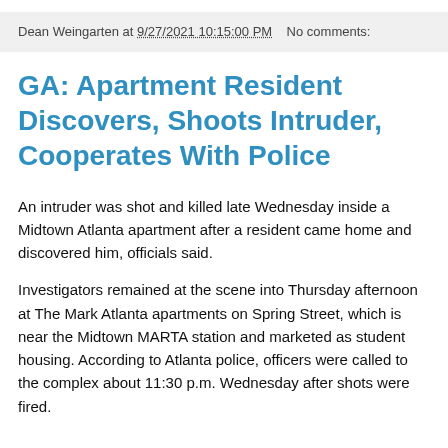Dean Weingarten at 9/27/2021 10:15:00 PM    No comments:
GA: Apartment Resident Discovers, Shoots Intruder, Cooperates With Police
An intruder was shot and killed late Wednesday inside a Midtown Atlanta apartment after a resident came home and discovered him, officials said.
Investigators remained at the scene into Thursday afternoon at The Mark Atlanta apartments on Spring Street, which is near the Midtown MARTA station and marketed as student housing. According to Atlanta police, officers were called to the complex about 11:30 p.m. Wednesday after shots were fired.